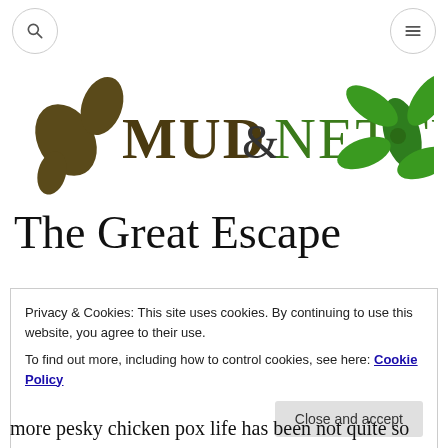[Search icon] [Menu icon]
[Figure (logo): Mud & Nettles blog logo with dark brown leaf/seed shapes on the left and green leaf cluster on the right, text 'MUD & NETTLES' in mixed brown and green serif/display font]
The Great Escape
Privacy & Cookies: This site uses cookies. By continuing to use this website, you agree to their use.
To find out more, including how to control cookies, see here: Cookie Policy
[Close and accept button]
more pesky chicken pox life has been not quite so much